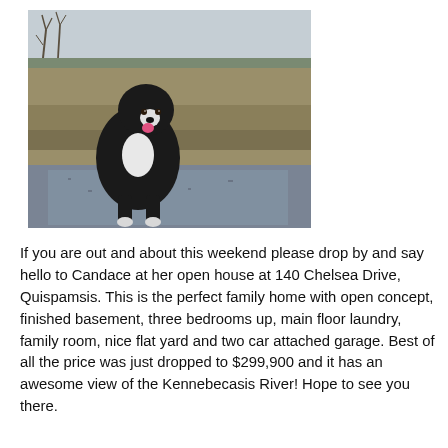[Figure (photo): A black and white dog (appears to be a Bernese Mountain Dog or similar breed) standing on a gravel driveway with a large open field and bare trees in the background. The photo is taken outdoors in what appears to be late autumn or winter.]
If you are out and about this weekend please drop by and say hello to Candace at her open house at 140 Chelsea Drive, Quispamsis. This is the perfect family home with open concept, finished basement, three bedrooms up, main floor laundry, family room, nice flat yard and two car attached garage. Best of all the price was just dropped to $299,900 and it has an awesome view of the Kennebecasis River! Hope to see you there.